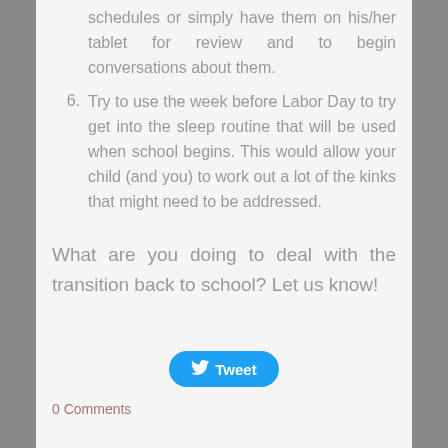schedules or simply have them on his/her tablet for review and to begin conversations about them.
6. Try to use the week before Labor Day to try get into the sleep routine that will be used when school begins.  This would allow your child (and you)  to work out  a  lot of the kinks  that might need to be addressed.
What are you doing to deal with the transition back to school?  Let us know!
[Figure (other): Tweet button - blue rounded button with Twitter bird icon and 'Tweet' label]
0 Comments